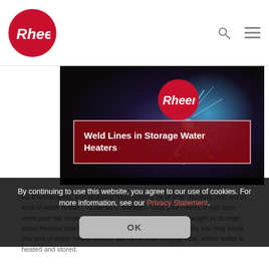[Figure (logo): Rheem logo in red circle on navigation bar]
[Figure (photo): Hero banner showing welding sparks with Rheem logo badge and text box reading 'Weld Lines in Storage Water Heaters']
As a homeowner, you probably have spent a lot of time deciding over which kind of water heater—tankless or storage—suits your needs. If you have done your fair share of research, you might have given thought to storage water heaters and have often bought one for your home. As you may know, this sort of water heater comes with an in-built storage tank, where water is heated and stored.
By continuing to use this website, you agree to our use of cookies. For more information, see our Privacy Statement.